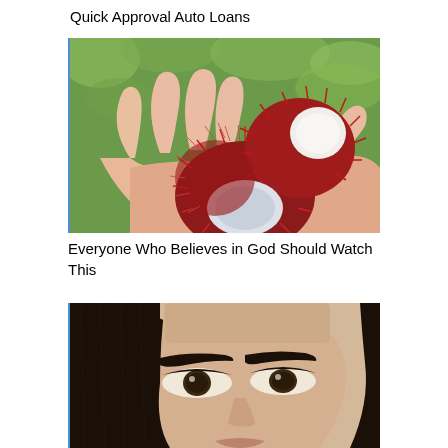Quick Approval Auto Loans
[Figure (photo): A hand holding several rambutan fruits, one opened to reveal the white interior flesh, with green foliage in the background.]
Everyone Who Believes in God Should Watch This
[Figure (photo): Close-up of a woman's face with dark hair and prominent eyebrows, eyes partially visible.]